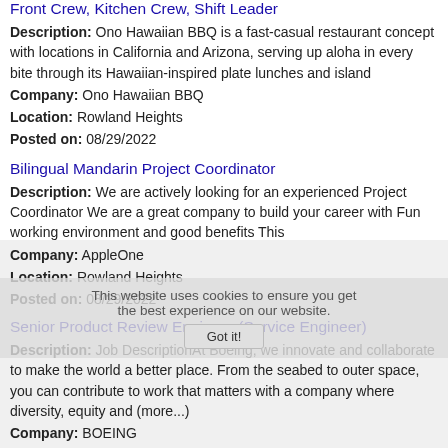Front Crew, Kitchen Crew, Shift Leader
Description: Ono Hawaiian BBQ is a fast-casual restaurant concept with locations in California and Arizona, serving up aloha in every bite through its Hawaiian-inspired plate lunches and island
Company: Ono Hawaiian BBQ
Location: Rowland Heights
Posted on: 08/29/2022
Bilingual Mandarin Project Coordinator
Description: We are actively looking for an experienced Project Coordinator We are a great company to build your career with Fun working environment and good benefits This
Company: AppleOne
Location: Rowland Heights
Posted on: 08/29/2022
Senior Product Review Engineer (Service Engineer)
Description: Job DescriptionAt Boeing, we innovate and collaborate to make the world a better place. From the seabed to outer space, you can contribute to work that matters with a company where diversity, equity and (more...)
Company: BOEING
Location: Rowland Heights
Posted on: 08/29/2022